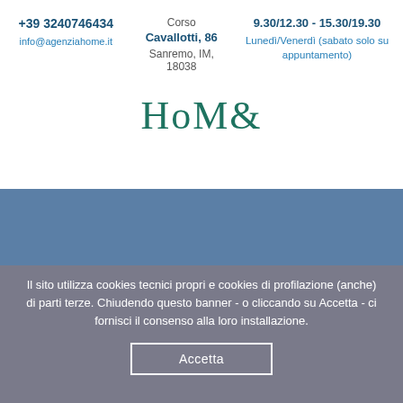+39 3240746434
info@agenziahome.it
Corso
Cavallotti, 86
Sanremo, IM, 18038
9.30/12.30 - 15.30/19.30
Lunedì/Venerdì (sabato solo su appuntamento)
[Figure (logo): HoM& logo in green serif font]
[Figure (other): Blue-grey horizontal band background]
Il sito utilizza cookies tecnici propri e cookies di profilazione (anche) di parti terze. Chiudendo questo banner - o cliccando su Accetta - ci fornisci il consenso alla loro installazione.
Accetta